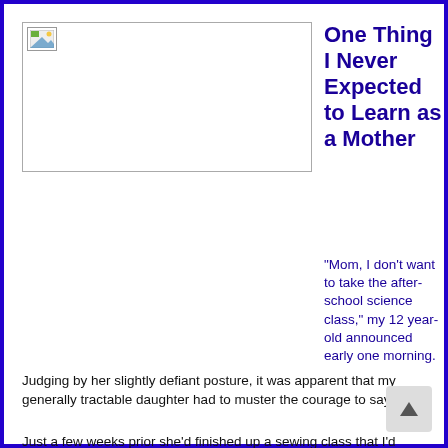[Figure (photo): Broken image placeholder with small landscape icon in top-left corner]
One Thing I Never Expected to Learn as a Mother
“Mom, I don't want to take the after-school science class,” my 12 year-old announced early one morning.
Judging by her slightly defiant posture, it was apparent that my generally tractable daughter had to muster the courage to say ‘no’.
Just a few weeks prior she’d finished up a sewing class that I’d